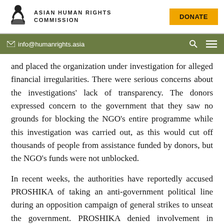Asian Human Rights Commission | info@humanrights.asia | DONATE
and placed the organization under investigation for alleged financial irregularities. There were serious concerns about the investigations' lack of transparency. The donors expressed concern to the government that they saw no grounds for blocking the NGO's entire programme while this investigation was carried out, as this would cut off thousands of people from assistance funded by donors, but the NGO's funds were not unblocked.
In recent weeks, the authorities have reportedly accused PROSHIKA of taking an anti-government political line during an opposition campaign of general strikes to unseat the government. PROSHIKA denied involvement in political activity, but the police raided its offices in Dhaka. One of its managers, Abdur Rob, was arrested on 29 April 2004. The